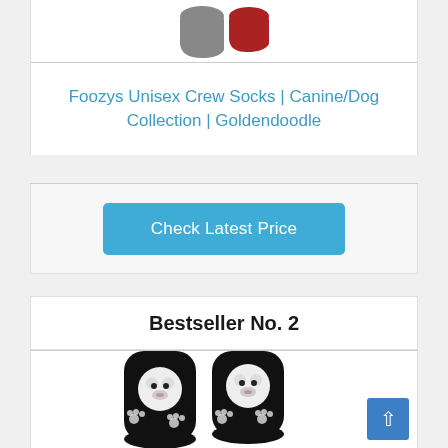[Figure (photo): Partial view of two socks (gray and red/dark) at top of page, cropped]
Foozys Unisex Crew Socks | Canine/Dog Collection | Goldendoodle
Check Latest Price
Bestseller No. 2
[Figure (photo): Black crew socks with white fluffy dog (Bichon/Shih Tzu) and paw print design on a white background]